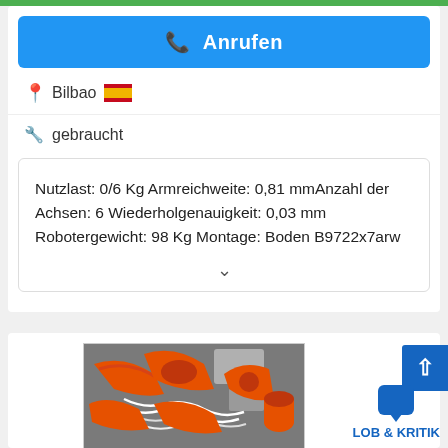Anrufen
Bilbao
gebraucht
Nutzlast: 0/6 Kg Armreichweite: 0,81 mmAnzahl der Achsen: 6 Wiederholgenauigkeit: 0,03 mm Robotergewicht: 98 Kg Montage: Boden B9722x7arw
[Figure (photo): Orange industrial robot arms with cables and wiring visible, photographed from close range in a workshop or industrial setting.]